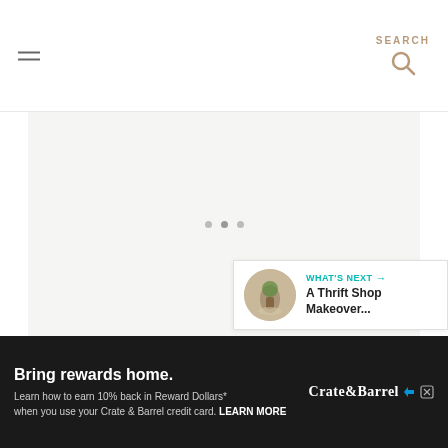SEARCH
[Figure (photo): Large light gray image/slideshow area with three dot indicators in the center bottom area]
[Figure (screenshot): Floating action buttons: teal heart button (favorite), count badge showing '2', and share button with plus icon]
[Figure (screenshot): What's Next panel showing a circular thumbnail of a plant/thrift shop item with label 'WHAT'S NEXT' and title 'A Thrift Shop Makeover...']
WHAT'S NEXT → A Thrift Shop Makeover... 2
[Figure (screenshot): Advertisement banner: black background, 'Bring rewards home.' headline, Crate & Barrel logo, 'Learn how to earn 10% back in Reward Dollars* when you use your Crate & Barrel credit card. LEARN MORE']